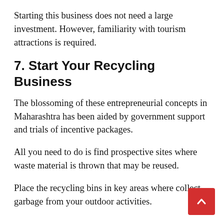Starting this business does not need a large investment. However, familiarity with tourism attractions is required.
7. Start Your Recycling Business
The blossoming of these entrepreneurial concepts in Maharashtra has been aided by government support and trials of incentive packages.
All you need to do is find prospective sites where waste material is thrown that may be reused.
Place the recycling bins in key areas where collect garbage from your outdoor activities.